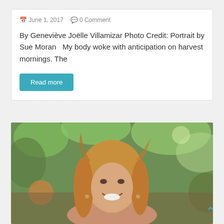June 1, 2017   0 Comment
By Geneviève Joëlle Villamizar Photo Credit: Portrait by Sue Moran   My body woke with anticipation on harvest mornings. The
Read more
[Figure (photo): Portrait photo of a smiling woman with blonde hair outdoors with blurred green foliage in background]